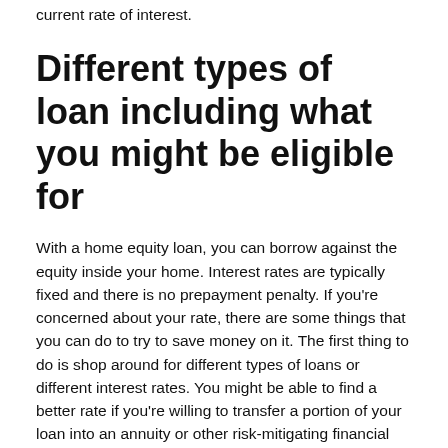printed from your bank showing the amount owed and the current rate of interest.
Different types of loan including what you might be eligible for
With a home equity loan, you can borrow against the equity inside your home. Interest rates are typically fixed and there is no prepayment penalty. If you're concerned about your rate, there are some things that you can do to try to save money on it. The first thing to do is shop around for different types of loans or different interest rates. You might be able to find a better rate if you're willing to transfer a portion of your loan into an annuity or other risk-mitigating financial product.
Home equity loans are an excellent way to take full advantage of your home equity. There are a lot of different